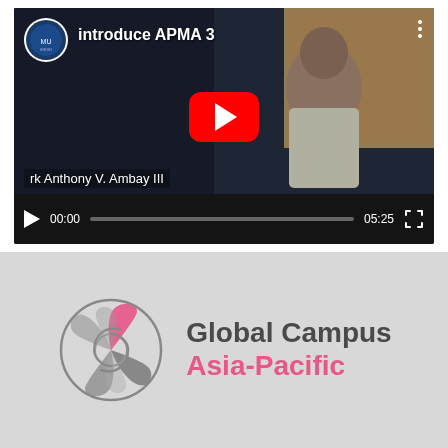[Figure (screenshot): YouTube video player screenshot showing a video titled 'introduce APMA 3' with a person (Mark Anthony V. Ambay III) on screen, a YouTube play button overlay, and video controls showing 00:00 / 05:25 duration.]
[Figure (logo): Global Campus Asia-Pacific logo: a spiral swirl icon with pink highlight and gray tones, beside text 'Global Campus' in dark gray and 'Asia-Pacific' in pink.]